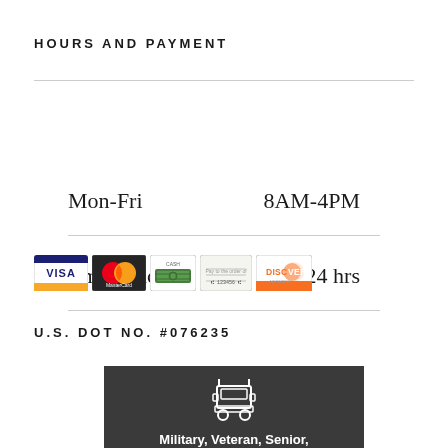HOURS AND PAYMENT
|  |  |
| --- | --- |
| Mon-Fri | 8AM-4PM |
| Emergency | 24 hrs |
[Figure (other): Payment method icons: Visa, MasterCard, Cash, Check, Discover]
U.S. DOT NO. #076235
[Figure (infographic): Dark gray banner with truck icon and text: Military, Veteran, Senior, Police, Firefighter, and [Teacher Discount - partially visible]]